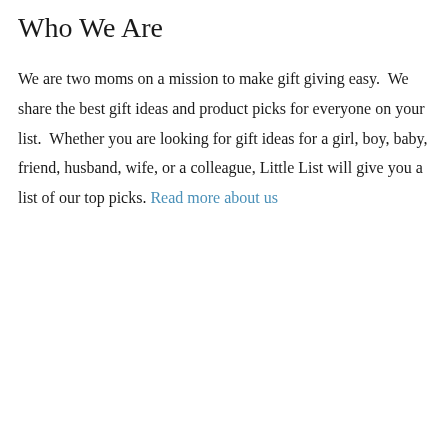Who We Are
We are two moms on a mission to make gift giving easy.  We share the best gift ideas and product picks for everyone on your list.  Whether you are looking for gift ideas for a girl, boy, baby, friend, husband, wife, or a colleague, Little List will give you a list of our top picks. Read more about us